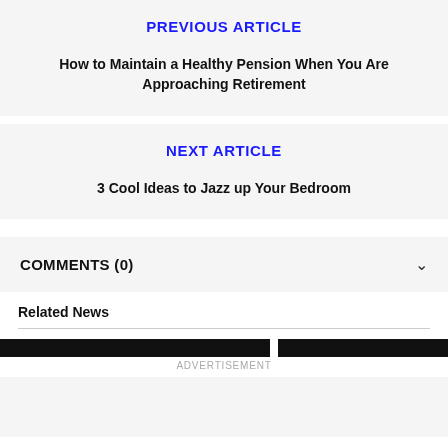PREVIOUS ARTICLE
How to Maintain a Healthy Pension When You Are Approaching Retirement
NEXT ARTICLE
3 Cool Ideas to Jazz up Your Bedroom
COMMENTS (0)
Related News
ADVERTISEMENT